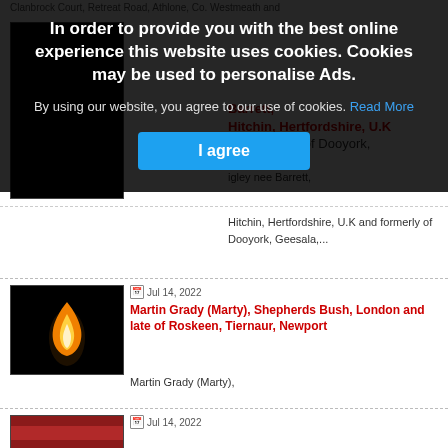Clanbrock Court, Retreat Road, Athlone, Co. Westmeath and
[Figure (other): Partially visible obituary thumbnail image on left side]
Barrett, Hitchin, Hertfordshire, U.K and formerly of Dooyork, a, Co.Mayo igley nee Barrett,
Hitchin, Hertfordshire, U.K and formerly of Dooyork, Geesala,...
In order to provide you with the best online experience this website uses cookies. Cookies may be used to personalise Ads.
By using our website, you agree to our use of cookies. Read More
I agree
Jul 14, 2022
Martin Grady (Marty), Shepherds Bush, London and late of Roskeen, Tiernaur, Newport
[Figure (photo): Candle flame photo — a single orange and yellow flame against a black background]
Martin Grady (Marty),
Shepherds Bush, London and late of Roskeen, Tiernaur,...
Jul 14, 2022